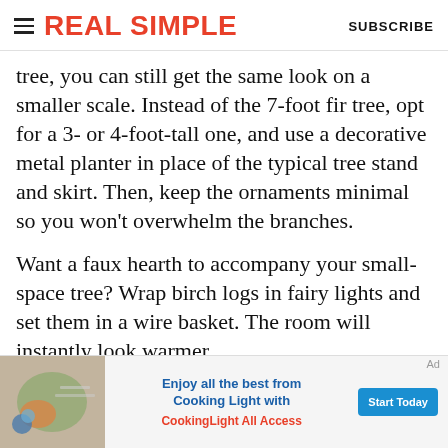REAL SIMPLE | SUBSCRIBE
tree, you can still get the same look on a smaller scale. Instead of the 7-foot fir tree, opt for a 3- or 4-foot-tall one, and use a decorative metal planter in place of the typical tree stand and skirt. Then, keep the ornaments minimal so you won't overwhelm the branches.
Want a faux hearth to accompany your small-space tree? Wrap birch logs in fairy lights and set them in a wire basket. The room will instantly look warmer.
[Figure (infographic): Advertisement banner for Cooking Light All Access: 'Enjoy all the best from Cooking Light with CookingLight All Access' with a Start Today button and food image on the left.]